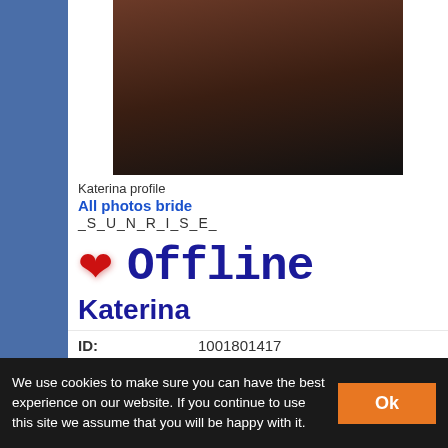[Figure (photo): Profile photo of Katerina, partially visible body on dark background]
Katerina profile
All photos bride
_S_U_N_R_I_S_E_
[Figure (infographic): Red heart icon followed by 'Offline' text in dark blue bold font]
Katerina
ID: 1001801417
Age 34 y/o female, Zodiac: Sagittarius
City: from Kharkov, Ukraine
We use cookies to make sure you can have the best experience on our website. If you continue to use this site we assume that you will be happy with it. Ok